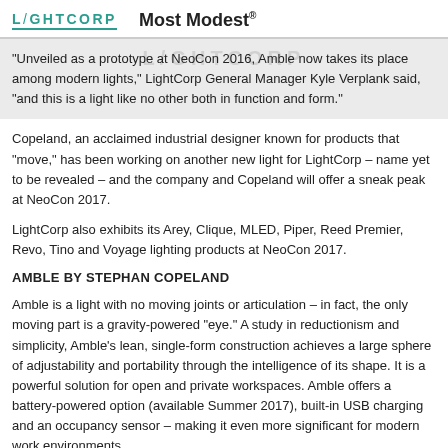LIGHTCORP   Most Modest
"Unveiled as a prototype at NeoCon 2016, Amble now takes its place among modern lights," LightCorp General Manager Kyle Verplank said, "and this is a light like no other both in function and form."
Copeland, an acclaimed industrial designer known for products that "move," has been working on another new light for LightCorp – name yet to be revealed – and the company and Copeland will offer a sneak peak at NeoCon 2017.
LightCorp also exhibits its Arey, Clique, MLED, Piper, Reed Premier, Revo, Tino and Voyage lighting products at NeoCon 2017.
AMBLE BY STEPHAN COPELAND
Amble is a light with no moving joints or articulation – in fact, the only moving part is a gravity-powered "eye." A study in reductionism and simplicity, Amble's lean, single-form construction achieves a large sphere of adjustability and portability through the intelligence of its shape. It is a powerful solution for open and private workspaces. Amble offers a battery-powered option (available Summer 2017), built-in USB charging and an occupancy sensor – making it even more significant for modern work environments.